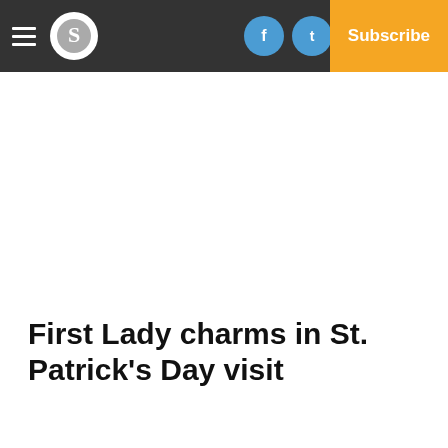Navigation bar with hamburger menu, S logo, Facebook, Twitter, Email social icons, Log In link, and Subscribe button
First Lady charms in St. Patrick's Day visit